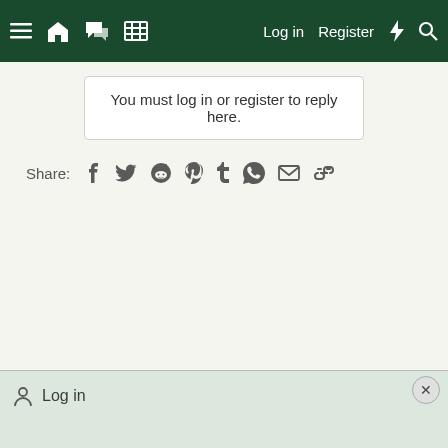≡  🏠  💬  ⊞   Log in   Register  ⚡  🔍
You must log in or register to reply here.
Share: f  𝕏  reddit  pinterest  tumblr  whatsapp  mail  link
Log in